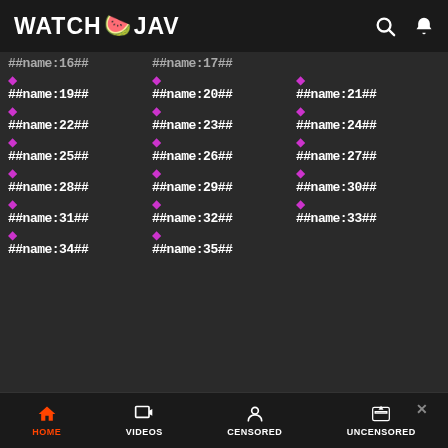WATCH🍉JAV
##name:16## ##name:17##
##name:19##
##name:20##
##name:21##
##name:22##
##name:23##
##name:24##
##name:25##
##name:26##
##name:27##
##name:28##
##name:29##
##name:30##
##name:31##
##name:32##
##name:33##
##name:34##
##name:35##
HOME  VIDEOS  CENSORED  UNCENSORED